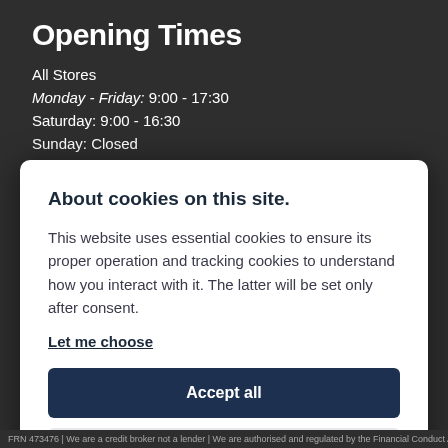Opening Times
All Stores
Monday - Friday: 9:00 - 17:30
Saturday: 9:00 - 16:30
Sunday: Closed
About cookies on this site.
This website uses essential cookies to ensure its proper operation and tracking cookies to understand how you interact with it. The latter will be set only after consent. Let me choose
Accept all
Reject all
FRN 473476 | We are a credit broker not a lender | We are authorised and regulated by...